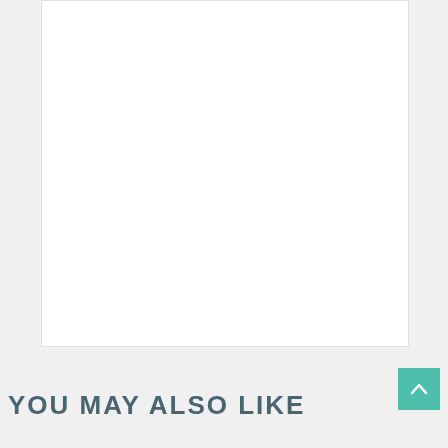[Figure (other): White rectangular content area/placeholder box with light border on gray background]
YOU MAY ALSO LIKE
[Figure (other): Teal/green back-to-top button with upward chevron arrow]